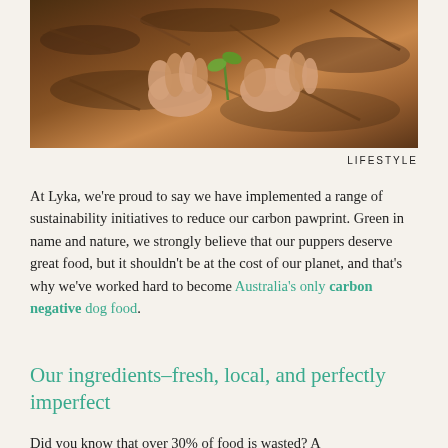[Figure (photo): Hands planting or tending to a small seedling in dark brown soil and leaf litter]
LIFESTYLE
At Lyka, we're proud to say we have implemented a range of sustainability initiatives to reduce our carbon pawprint. Green in name and nature, we strongly believe that our puppers deserve great food, but it shouldn't be at the cost of our planet, and that's why we've worked hard to become Australia's only carbon negative dog food.
Our ingredients–fresh, local, and perfectly imperfect
Did you know that over 30% of food is wasted? A